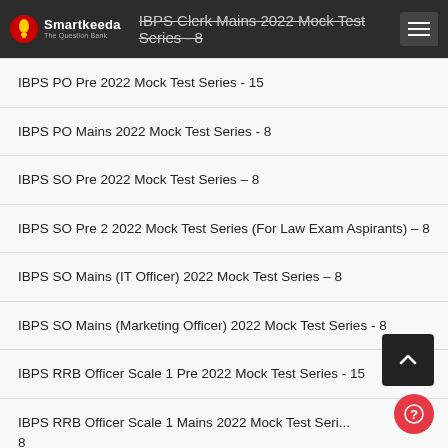IBPS Clerk Mains 2022 Mock Test Series - 8
IBPS PO Pre 2022 Mock Test Series - 15
IBPS PO Mains 2022 Mock Test Series - 8
IBPS SO Pre 2022 Mock Test Series – 8
IBPS SO Pre 2 2022 Mock Test Series (For Law Exam Aspirants) – 8
IBPS SO Mains (IT Officer) 2022 Mock Test Series – 8
IBPS SO Mains (Marketing Officer) 2022 Mock Test Series - 8
IBPS RRB Officer Scale 1 Pre 2022 Mock Test Series - 15
IBPS RRB Officer Scale 1 Mains 2022 Mock Test Series - 8
IBPS RRB Office Assistant Pre 2022 Mock Test Series - 15
IBPS RRB Office Assistant Mains 2022 Mock Test Series...